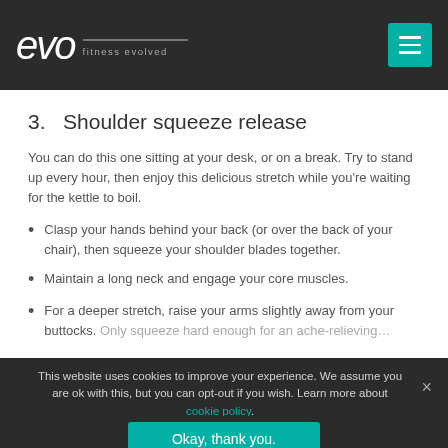evo fitness evolved
3. Shoulder squeeze release
You can do this one sitting at your desk, or on a break. Try to stand up every hour, then enjoy this delicious stretch while you're waiting for the kettle to boil.
Clasp your hands behind your back (or over the back of your chair), then squeeze your shoulder blades together.
Maintain a long neck and engage your core muscles.
For a deeper stretch, raise your arms slightly away from your buttocks. Only squeeze hard enough for an ache-relieving…
This website uses cookies to improve your experience. We assume you are ok with this, but you can opt-out if you wish. Learn more about cookie policy.
Okay, thank you.